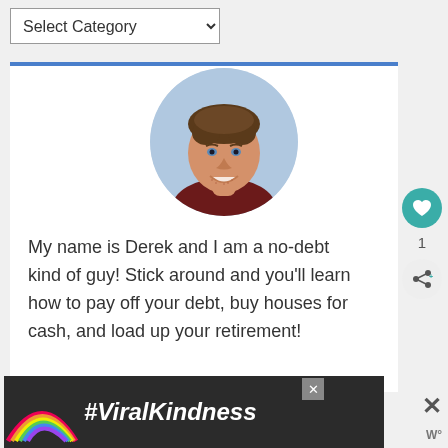Select Category
[Figure (photo): Circular profile photo of a smiling man with short dark hair]
My name is Derek and I am a no-debt kind of guy! Stick around and you'll learn how to pay off your debt, buy houses for cash, and load up your retirement!
[Figure (infographic): Advertisement banner with rainbow illustration and text #ViralKindness on dark background]